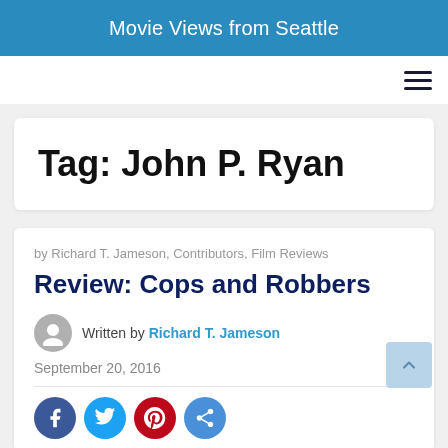Movie Views from Seattle
Tag: John P. Ryan
by Richard T. Jameson, Contributors, Film Reviews
Review: Cops and Robbers
Written by Richard T. Jameson
September 20, 2016